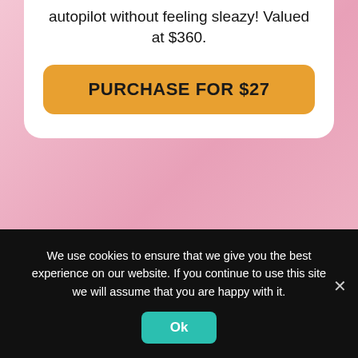autopilot without feeling sleazy! Valued at $360.
PURCHASE FOR $27
The One Hour Content Amplifier Bundle
Black Friday Special - Only $29
We use cookies to ensure that we give you the best experience on our website. If you continue to use this site we will assume that you are happy with it.
Ok